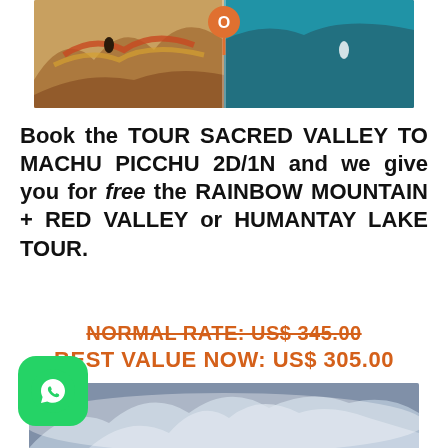[Figure (photo): Top scenic photo showing colorful mountains and a person with location pin overlay]
Book the TOUR SACRED VALLEY TO MACHU PICCHU 2D/1N and we give you for free the RAINBOW MOUNTAIN + RED VALLEY or HUMANTAY LAKE TOUR.
NORMAL RATE: US$ 345.00
BEST VALUE NOW: US$ 305.00
PROMOTION 3:
[Figure (photo): Bottom image showing snowy mountain landscape]
[Figure (logo): WhatsApp button icon (green circle with phone/chat icon)]